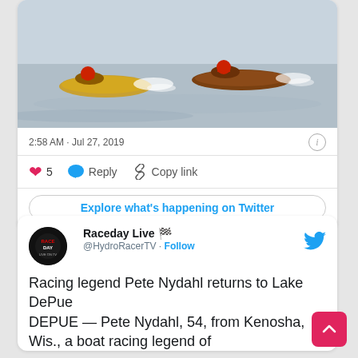[Figure (photo): Two hydroplane racing boats speeding across water, with spray behind them. Left boat is yellow/brown, right boat is brown/dark. Racers in helmets are visible.]
2:58 AM · Jul 27, 2019
5  Reply  Copy link
Explore what's happening on Twitter
Raceday Live 🏁 @HydroRacerTV · Follow
Racing legend Pete Nydahl returns to Lake DePue
DEPUE — Pete Nydahl, 54, from Kenosha, Wis., a boat racing legend of